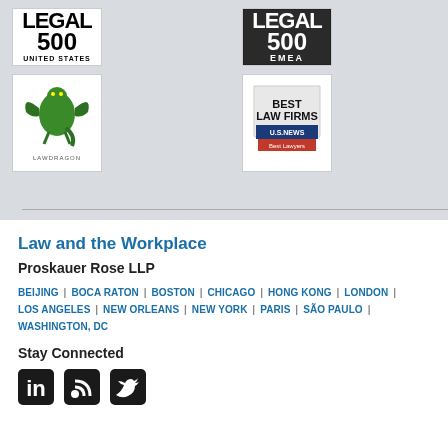[Figure (logo): Legal 500 United States logo - black and white badge with '500' large text and 'UNITED STATES' below]
[Figure (logo): Legal 500 EMEA logo - dark background badge with '500' large text and 'EMEA' below]
[Figure (logo): LawDragon logo - green dragon illustration with 'LAWDRAGON' text below]
[Figure (logo): Best Law Firms - US News Best Lawyers badge with shield shape]
Law and the Workplace
Proskauer Rose LLP
BEIJING | BOCA RATON | BOSTON | CHICAGO | HONG KONG | LONDON | LOS ANGELES | NEW ORLEANS | NEW YORK | PARIS | SÃO PAULO | WASHINGTON, DC
Stay Connected